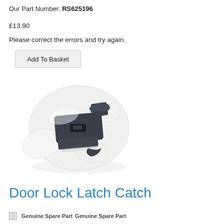Our Part Number: RS625196
£13.90
Please correct the errors and try again.
Add To Basket
[Figure (photo): Product photo of a Door Lock Latch Catch mechanism — a white and dark grey/charcoal coloured plastic and metal door latch component shown on a white background.]
Door Lock Latch Catch
Genuine Spare Part Genuine Spare Part